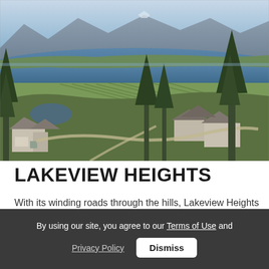[Figure (photo): Aerial/elevated view of Lakeview Heights neighborhood with winding roads through hills, vineyards, houses with grey roofs, tall evergreen trees in foreground, a blue lake in the middle ground, mountains in the background under a partly cloudy sky.]
LAKEVIEW HEIGHTS
With its winding roads through the hills, Lakeview Heights
By using our site, you agree to our Terms of Use and Privacy Policy  Dismiss